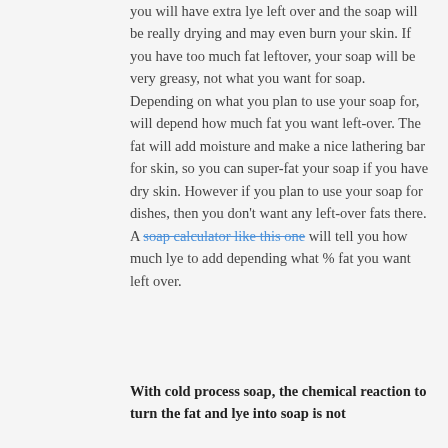you will have extra lye left over and the soap will be really drying and may even burn your skin. If you have too much fat leftover, your soap will be very greasy, not what you want for soap. Depending on what you plan to use your soap for, will depend how much fat you want left-over. The fat will add moisture and make a nice lathering bar for skin, so you can super-fat your soap if you have dry skin. However if you plan to use your soap for dishes, then you don't want any left-over fats there. A soap calculator like this one will tell you how much lye to add depending what % fat you want left over.
With cold process soap, the chemical reaction to turn the fat and lye into soap is not